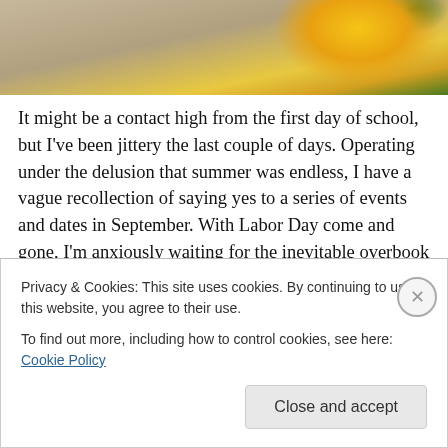[Figure (photo): Partial view of a sunflower with yellow petals and green stem against a light beige/tan background, cropped at top of page]
It might be a contact high from the first day of school, but I've been jittery the last couple of days. Operating under the delusion that summer was endless, I have a vague recollection of saying yes to a series of events and dates in September. With Labor Day come and gone, I'm anxiously waiting for the inevitable overbook or forgotten deadline. Though I'm ready to get back to work (somewhat), I'll miss the steady stream of
Privacy & Cookies: This site uses cookies. By continuing to use this website, you agree to their use.
To find out more, including how to control cookies, see here: Cookie Policy
Close and accept